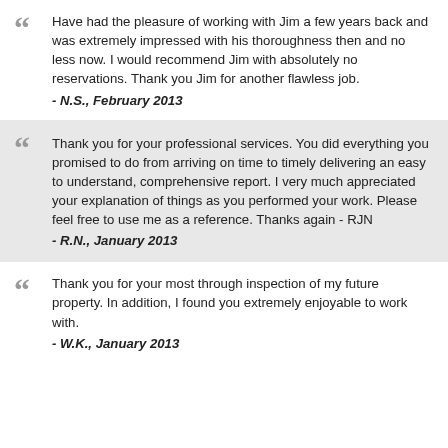Have had the pleasure of working with Jim a few years back and was extremely impressed with his thoroughness then and no less now. I would recommend Jim with absolutely no reservations. Thank you Jim for another flawless job. - N.S., February 2013
Thank you for your professional services. You did everything you promised to do from arriving on time to timely delivering an easy to understand, comprehensive report. I very much appreciated your explanation of things as you performed your work. Please feel free to use me as a reference. Thanks again - RJN - R.N., January 2013
Thank you for your most through inspection of my future property. In addition, I found you extremely enjoyable to work with. - W.K., January 2013